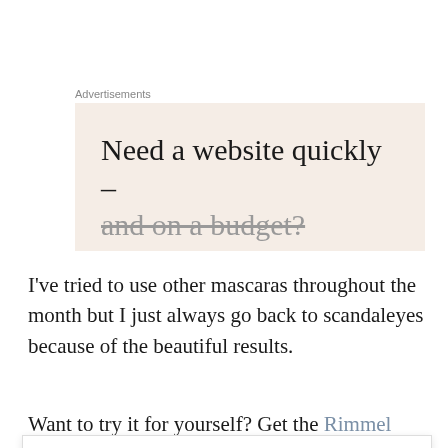Advertisements
[Figure (other): Advertisement box with beige background showing partial text: 'Need a website quickly – and on a budget?']
I've tried to use other mascaras throughout the month but I just always go back to scandaleyes because of the beautiful results.
Want to try it for yourself? Get the Rimmel
Privacy & Cookies: This site uses cookies. By continuing to use this website, you agree to their use.
To find out more, including how to control cookies, see here: Cookie Policy
the makeup eraser?! Did you know you can get